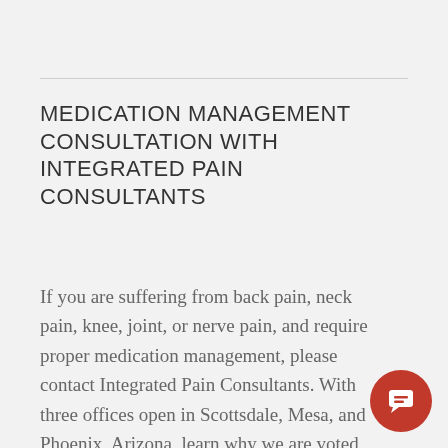MEDICATION MANAGEMENT CONSULTATION WITH INTEGRATED PAIN CONSULTANTS
If you are suffering from back pain, neck pain, knee, joint, or nerve pain, and require proper medication management, please contact Integrated Pain Consultants. With three offices open in Scottsdale, Mesa, and Phoenix, Arizona, learn why we are voted “Top Doc” by Phoenix Magazine and read reviews left by real patients of